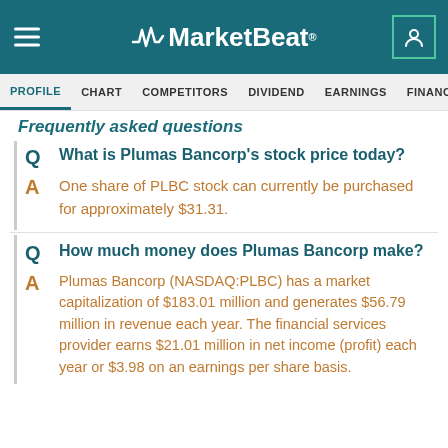MarketBeat
PROFILE  CHART  COMPETITORS  DIVIDEND  EARNINGS  FINANCIALS  INSID
Frequently asked questions
Q: What is Plumas Bancorp's stock price today?
A: One share of PLBC stock can currently be purchased for approximately $31.31.
Q: How much money does Plumas Bancorp make?
A: Plumas Bancorp (NASDAQ:PLBC) has a market capitalization of $183.01 million and generates $56.79 million in revenue each year. The financial services provider earns $21.01 million in net income (profit) each year or $3.98 on an earnings per share basis.